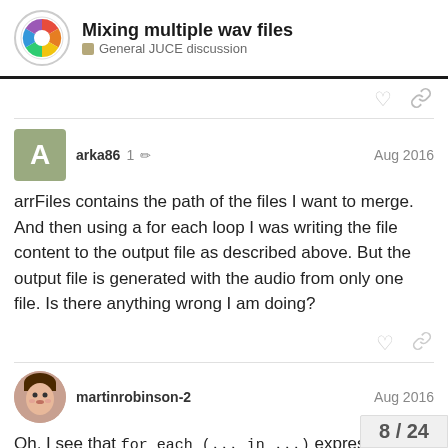Mixing multiple wav files — General JUCE discussion
arrFiles contains the path of the files I want to merge. And then using a for each loop I was writing the file content to the output file as described above. But the output file is generated with the audio from only one file. Is there anything wrong I am doing?
Oh, I see that for each (... in ...) expression is a non-standard Microsoft extension. (You should standard way of iterating over these string: